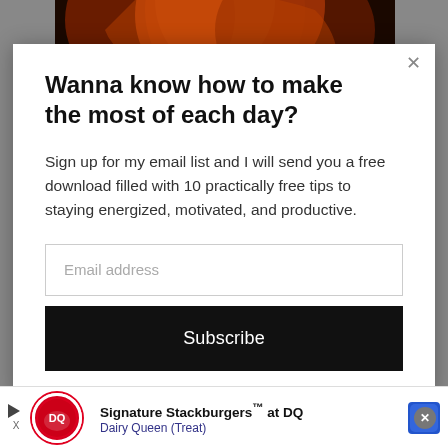[Figure (photo): Orange flower close-up photo visible at top behind modal overlay]
Wanna know how to make the most of each day?
Sign up for my email list and I will send you a free download filled with 10 practically free tips to staying energized, motivated, and productive.
Email address
Subscribe
[Figure (screenshot): Advertisement banner: Signature Stackburgers™ at DQ - Dairy Queen (Treat) with DQ logo and navigation icon]